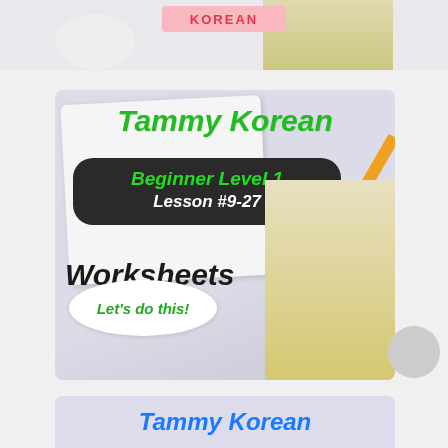KOREAN
[Figure (illustration): Tammy Korean worksheet cover: woman in yellow blouse with fists raised, notebook background, pencil. Text: Tammy Korean, Beginner Level 1, Lesson #9-27, Worksheets, Let's do this!]
Tammy Korean
Beginner Level 1
Lesson #9-27
Worksheets
Let's do this!
[Figure (illustration): Partial view of another Tammy Korean card at the bottom showing 'Tammy Korean' text in blue italic bold font]